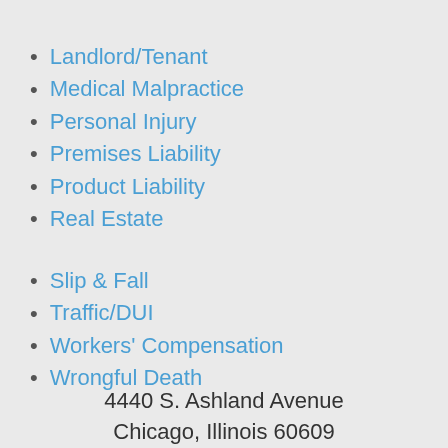Landlord/Tenant
Medical Malpractice
Personal Injury
Premises Liability
Product Liability
Real Estate
Slip & Fall
Traffic/DUI
Workers' Compensation
Wrongful Death
4440 S. Ashland Avenue
Chicago, Illinois 60609